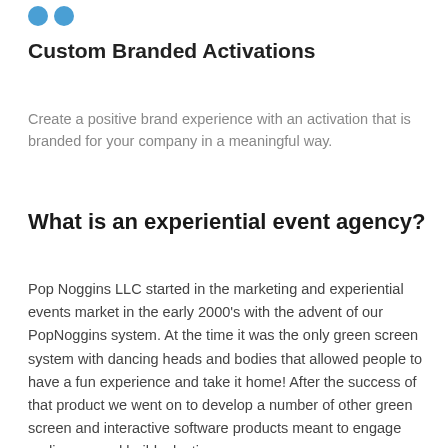[Figure (logo): Two blue circles side by side representing a logo]
Custom Branded Activations
Create a positive brand experience with an activation that is branded for your company in a meaningful way.
What is an experiential event agency?
Pop Noggins LLC started in the marketing and experiential events market in the early 2000's with the advent of our PopNoggins system. At the time it was the only green screen system with dancing heads and bodies that allowed people to have a fun experience and take it home! After the success of that product we went on to develop a number of other green screen and interactive software products meant to engage audiences and build a lasting